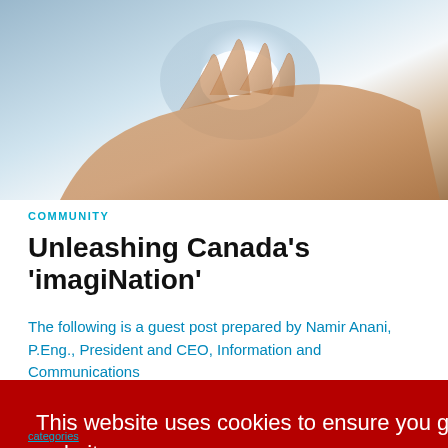[Figure (photo): Hand with glowing light — hero image for article about imagination and innovation]
COMMUNITY
Unleashing Canada's 'imagiNation'
The following is a guest post prepared by Namir Anani, P.Eng., President and CEO, Information and Communications
This website uses cookies to ensure you get the best experience on our website. Learn more Got it!